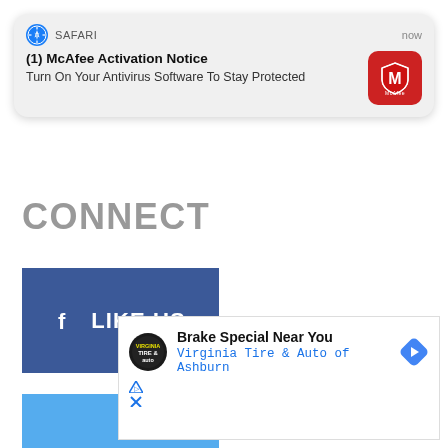[Figure (screenshot): Safari browser push notification card reading '(1) McAfee Activation Notice — Turn On Your Antivirus Software To Stay Protected' with McAfee red icon, labeled 'SAFARI' with 'now' timestamp]
CONNECT
[Figure (infographic): Dark blue Facebook 'LIKE US' button with Facebook 'f' icon]
[Figure (infographic): Light blue Twitter 'FOLLOW US' button with Twitter bird icon]
[Figure (infographic): Advertisement box: 'Brake Special Near You' with Virginia Tire & Auto logo, subtitle 'Virginia Tire & Auto of Ashburn', navigation arrow icon, and ad disclosure markers]